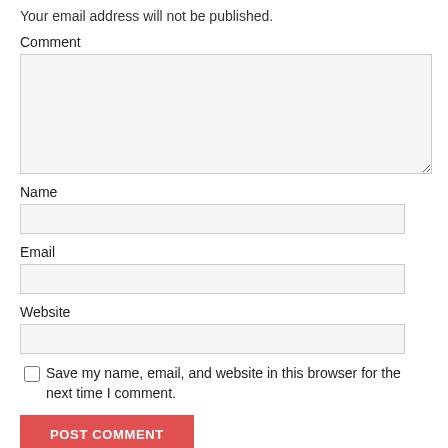Your email address will not be published.
Comment
[Figure (other): Large textarea input box for comment]
Name
[Figure (other): Single-line text input box for Name]
Email
[Figure (other): Single-line text input box for Email]
Website
[Figure (other): Single-line text input box for Website]
Save my name, email, and website in this browser for the next time I comment.
POST COMMENT